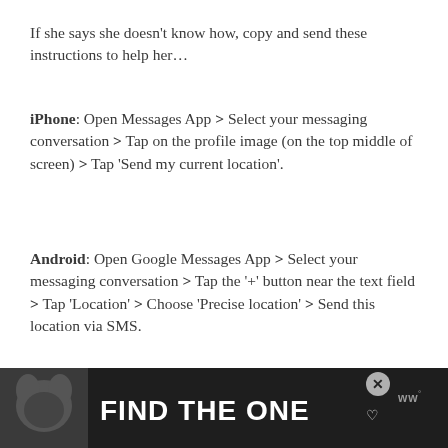If she says she doesn't know how, copy and send these instructions to help her…
iPhone: Open Messages App > Select your messaging conversation > Tap on the profile image (on the top middle of screen) > Tap 'Send my current location'.
Android: Open Google Messages App > Select your messaging conversation > Tap the '+' button near the text field > Tap 'Location' > Choose 'Precise location' > Send this location via SMS.
If she refuses or stalls, consider it further
[Figure (other): Advertisement banner with dog image and text 'FIND THE ONE' with heart symbol, close button, and WW logo]